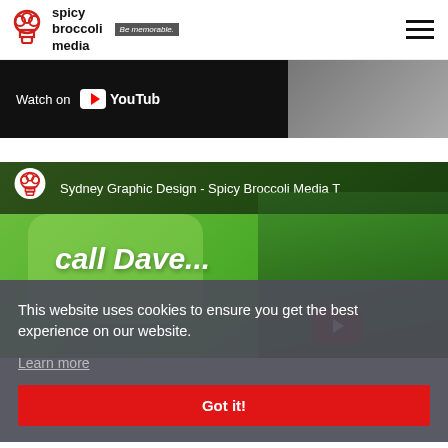spicy broccoli media — Be memorable.
[Figure (screenshot): YouTube 'Watch on YouTube' bar with partial image visible on right]
[Figure (screenshot): YouTube video embed showing 'Sydney Graphic Design - Spicy Broccoli Media T' title, green background with person and 'call Dave...' text overlay, with play button]
This website uses cookies to ensure you get the best experience on our website.
Learn more
Got it!